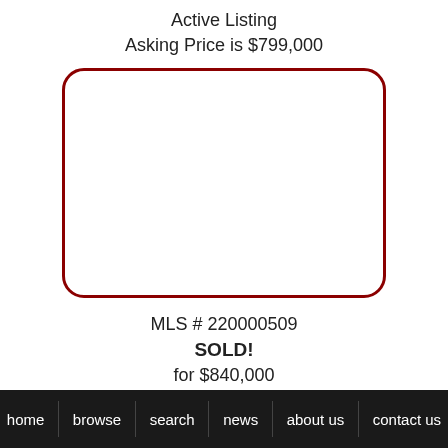Active Listing
Asking Price is $799,000
[Figure (other): Empty rounded-rectangle image placeholder with dark red border]
MLS # 220000509
SOLD!
for $840,000
on 2022-02-22
home   browse   search   news   about us   contact us